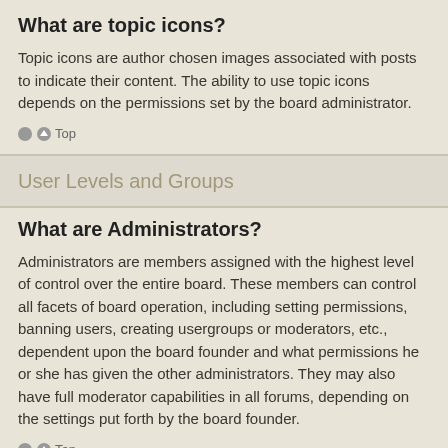What are topic icons?
Topic icons are author chosen images associated with posts to indicate their content. The ability to use topic icons depends on the permissions set by the board administrator.
⬆ Top
User Levels and Groups
What are Administrators?
Administrators are members assigned with the highest level of control over the entire board. These members can control all facets of board operation, including setting permissions, banning users, creating usergroups or moderators, etc., dependent upon the board founder and what permissions he or she has given the other administrators. They may also have full moderator capabilities in all forums, depending on the settings put forth by the board founder.
⬆ Top
What are Moderators?
Moderators are individuals (or groups of individuals) who look after the